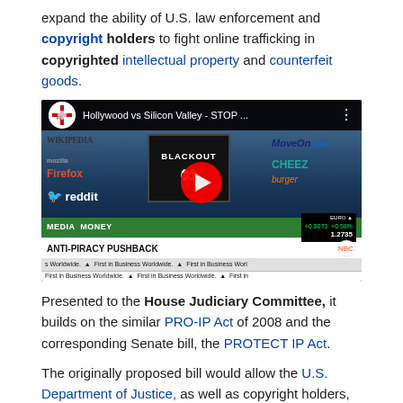expand the ability of U.S. law enforcement and copyright holders to fight online trafficking in copyrighted intellectual property and counterfeit goods.
[Figure (screenshot): YouTube video thumbnail showing 'Hollywood vs Silicon Valley - STOP ...' with logos of Wikipedia, Firefox, Reddit, a blackout laptop screen, MoveOn.org, and Cheezburger. A red play button is centered. Below is a CNBC 'Media Money' ticker with 'ANTI-PIRACY PUSHBACK' and Euro financial data.]
Presented to the House Judiciary Committee, it builds on the similar PRO-IP Act of 2008 and the corresponding Senate bill, the PROTECT IP Act.
The originally proposed bill would allow the U.S. Department of Justice, as well as copyright holders, to seek court orders against websites